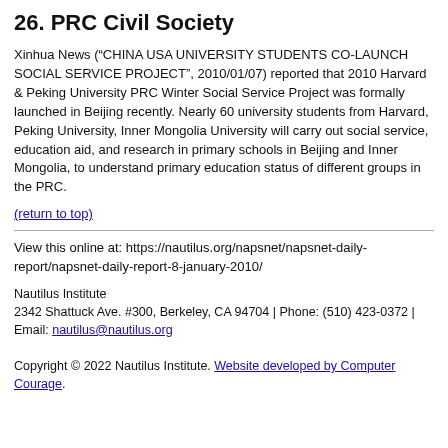26. PRC Civil Society
Xinhua News (“CHINA USA UNIVERSITY STUDENTS CO-LAUNCH SOCIAL SERVICE PROJECT”, 2010/01/07) reported that 2010 Harvard & Peking University PRC Winter Social Service Project was formally launched in Beijing recently. Nearly 60 university students from Harvard, Peking University, Inner Mongolia University will carry out social service, education aid, and research in primary schools in Beijing and Inner Mongolia, to understand primary education status of different groups in the PRC.
(return to top)
View this online at: https://nautilus.org/napsnet/napsnet-daily-report/napsnet-daily-report-8-january-2010/
Nautilus Institute
2342 Shattuck Ave. #300, Berkeley, CA 94704 | Phone: (510) 423-0372 | Email: nautilus@nautilus.org

Copyright © 2022 Nautilus Institute. Website developed by Computer Courage.